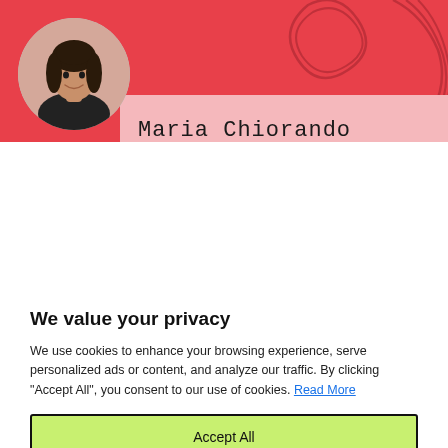[Figure (photo): Website screenshot showing a cookie consent popup overlaid on a page belonging to Maria Chiorando. The header has a red background with decorative line patterns and a circular avatar photo of a woman with long dark hair smiling. A pink strip shows the name 'Maria Chiorando' in monospace font. Below is a white cookie consent dialog with title 'We value your privacy', explanatory text, and three buttons: 'Accept All' (green), 'Customize' (white), and 'Reject All' (white). A yellow chat bubble icon is in the bottom right corner.]
We value your privacy
We use cookies to enhance your browsing experience, serve personalized ads or content, and analyze our traffic. By clicking "Accept All", you consent to our use of cookies. Read More